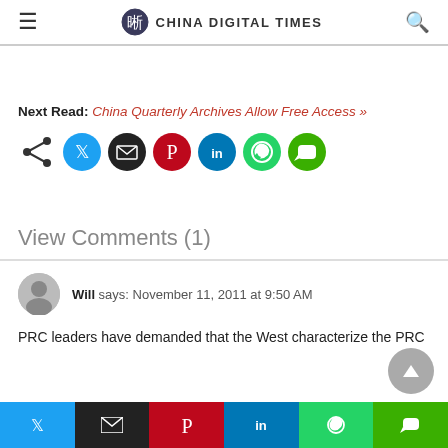CHINA DIGITAL TIMES
Next Read: China Quarterly Archives Allow Free Access »
[Figure (infographic): Social share buttons row: share icon, Twitter, Email, Pinterest, LinkedIn, WhatsApp, Line]
View Comments (1)
Will says: November 11, 2011 at 9:50 AM
PRC leaders have demanded that the West characterize the PRC
[Figure (infographic): Bottom share bar: Twitter, Email, Pinterest, LinkedIn, WhatsApp, Line]